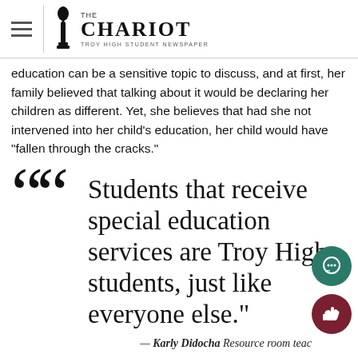THE CHARIOT — TROY HIGH STUDENT NEWSPAPER
education can be a sensitive topic to discuss, and at first, her family believed that talking about it would be declaring her children as different. Yet, she believes that had she not intervened into her child's education, her child would have "fallen through the cracks."
"Students that receive special education services are Troy High students, just like everyone else."
— Karly Didocha Resource room teacher